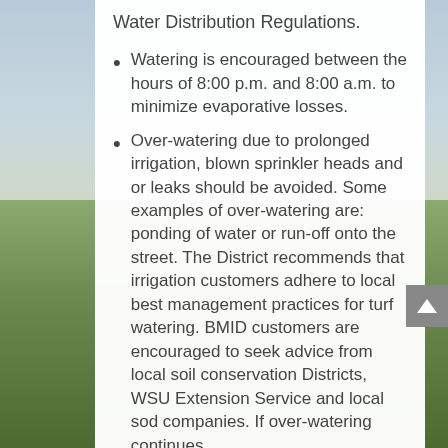Water Distribution Regulations.
Watering is encouraged between the hours of 8:00 p.m. and 8:00 a.m. to minimize evaporative losses.
Over-watering due to prolonged irrigation, blown sprinkler heads and or leaks should be avoided. Some examples of over-watering are: ponding of water or run-off onto the street. The District recommends that irrigation customers adhere to local best management practices for turf watering. BMID customers are encouraged to seek advice from local soil conservation Districts, WSU Extension Service and local sod companies. If over-watering continues